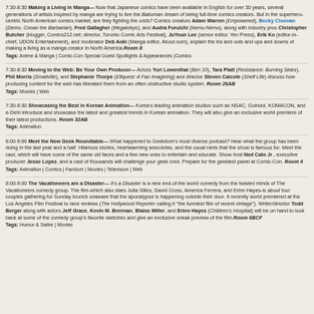7:30-8:30 Making a Living in Manga— Now that Japanese comics have been available in English for over 30 years, several generations of artists inspired by manga are trying to live the Bakuman dream of being full-time comics creators. But in the superhero-centric North American comics market, are they fighting the odds? Comics creators Adam Warren (Empowered), Becky Cloonan (Demo, Conan the Barbarian), Fred Gallagher (Megatokyo), and Audra Furuichi (Nemu-Nemu), along with industry pros Christopher Butcher (blogger, Comics212.net; director, Toronto Comic Arts Festival), JuYoun Lee (senior editor, Yen Press), Erik Ko (editor-in-chief, UDON Entertainment), and moderator Deb Aoki (Manga editor, About.com), explain the ins and outs and ups and downs of making a living as a manga creator in North America. Room 8
Tags: Anime & Manga | Comic-Con Special Guest Spotlights & Appearances |Comics
7:30-8:30 Moving to the Web: Be Your Own Producer— Actors Yuri Lowenthal (Ben 10), Tara Platt (Resistance: Burning Skies), Phil Morris (Smallville), and Stephanie Thorpe (Elfquest: A Fan Imagining) and director Steven Calcote (Shelf Life) discuss how producing content for the web has liberated them from an often obstructive studio system. Room 26AB
Tags: Movies | Web
7:30-8:30 Showcasing the Best in Korean Animation— Korea's leading animation studios such as NSAC, Goindol, KOMACON, and e-Dehi introduce and showcase the latest and greatest trends in Korean animation. They will also give an exclusive world premiere of their latest productions. Room 32AB
Tags: Animation
8:00-9:00 Meet the New Geek Roundtable— What happened to Geekdom's most diverse podcast? Hear what the group has been doing in the last year and a half. Hilarious stories, heartwarming anecdotes, and the usual rants that the show is famous for. Meet the cast, which will have some of the same old faces and a few new ones to entertain and educate. Show host Ned Cato Jr., executive producer Jesse Lopez, and a cast of thousands will challenge your geek cred. Prepare for the geekiest panel at Comic-Con. Room 4
Tags: Animation | Comics | Fandom | Movies | Television | Web
8:00-9:00 The Vacationeers are a Disaster— It's a Disaster is a new end-of-the world comedy from the twisted minds of The Vacationeers comedy group. The film-which also stars Julia Stiles, David Cross, America Ferrera, and Erinn Hayes-is about four couples gathering for Sunday brunch unaware that the apocalypse is happening outside their door. It recently world premiered at the Los Angeles Film Festival to rave reviews (The Hollywood Reporter calling it "the funniest film of recent vintage"). Writer/director Todd Berger along with actors Jeff Grace, Kevin M. Brennan, Blaise Miller, and Erinn Hayes (Children's Hospital) will be on hand to look back at some of the comedy group's favorite sketches and give an exclusive sneak preview of the film. Room 6BCF
Tags: Humor & Satire | Movies